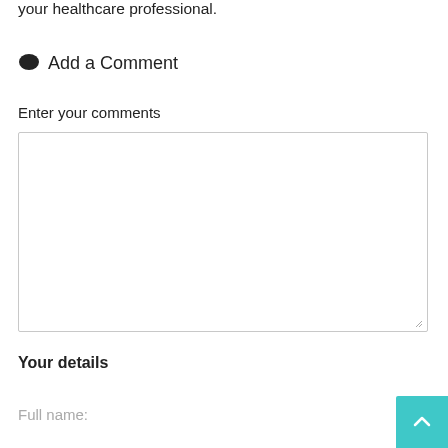your healthcare professional.
Add a Comment
Enter your comments
Your details
Full name: